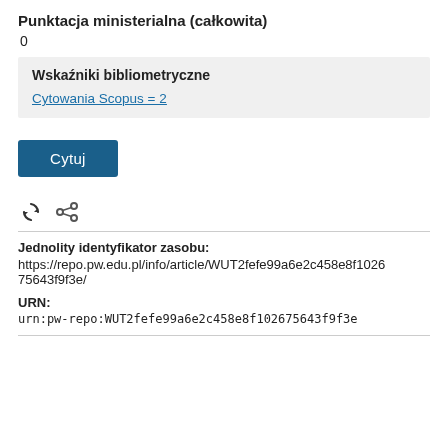Punktacja ministerialna (całkowita)
0
Wskaźniki bibliometryczne
Cytowania Scopus = 2
Cytuj
[Figure (other): Refresh and share icons]
Jednolity identyfikator zasobu:
https://repo.pw.edu.pl/info/article/WUT2fefe99a6e2c458e8f102675643f9f3e/
URN:
urn:pw-repo:WUT2fefe99a6e2c458e8f102675643f9f3e